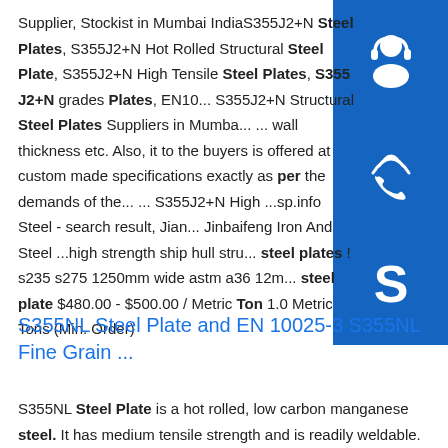Supplier, Stockist in Mumbai IndiaS355J2+N Steel Plates, S355J2+N Hot Rolled Structural Steel Plate, S355J2+N High Tensile Steel Plates, S355 J2+N grades Plates, EN10... S355J2+N Structural Steel Plates Suppliers in Mumbai... ... wall thickness etc. Also, it to the buyers is offered at custom made specifications exactly as per the demands of the... ... S355J2+N High ...sp.info Steel - search result, Jiang... Jinbaifeng Iron And Steel ...high strength ship hull stru... steel plates ! s235 s275 1250mm wide astm a36 12m... steel plate $480.00 - $500.00 / Metric Ton 1.0 Metric Tons (Min. Order)
[Figure (illustration): Blue sidebar with three icons: headset/support icon, phone/call icon, Skype icon]
S355NL Steel Plate and EN 10025-3 S355NL Fine Grain ...
S355NL Steel Plate is a hot rolled, low carbon manganese steel. It has medium tensile strength and is readily weldable. It